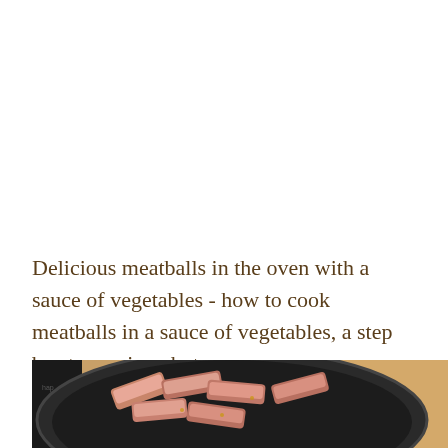Delicious meatballs in the oven with a sauce of vegetables - how to cook meatballs in a sauce of vegetables, a step by step recipe photos
[Figure (photo): Photo of meat pieces (ribs or meatballs) cooking in a large dark cast iron skillet/pan on a stovetop, with a wooden cutting board visible in the background]